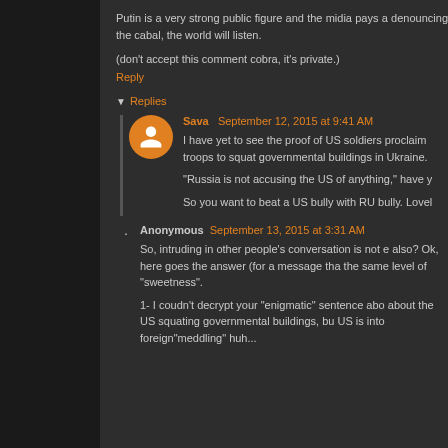Putin is a very strong public figure and the midia pays a denouncing the cabal, the world will listen.
(don't accept this comment cobra, it's private.)
Reply
Replies
Sava  September 12, 2015 at 9:41 AM
I have yet to see the proof of US soldiers proclaim troops to squat governmental buildings in Ukraine.
"Russia is not accusing the US of anything," have y
So you want to beat a US bully with RU bully. Lovel
Anonymous  September 13, 2015 at 3:31 AM
So, intruding in other people's conversation is not e also? Ok, here goes the answer (for a message tha the same level of "sweetness".
1- I coudn't decrypt your "enigmatic" sentence abo about the US squating governmental buildings, bu US is into foreign"meddling" huh...